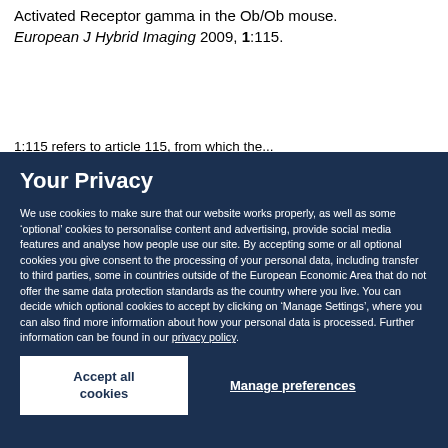Activated Receptor gamma in the Ob/Ob mouse. European J Hybrid Imaging 2009, 1:115.
1:115 refers to article 115 from which the...
Your Privacy
We use cookies to make sure that our website works properly, as well as some ‘optional’ cookies to personalise content and advertising, provide social media features and analyse how people use our site. By accepting some or all optional cookies you give consent to the processing of your personal data, including transfer to third parties, some in countries outside of the European Economic Area that do not offer the same data protection standards as the country where you live. You can decide which optional cookies to accept by clicking on ‘Manage Settings’, where you can also find more information about how your personal data is processed. Further information can be found in our privacy policy.
Accept all cookies
Manage preferences